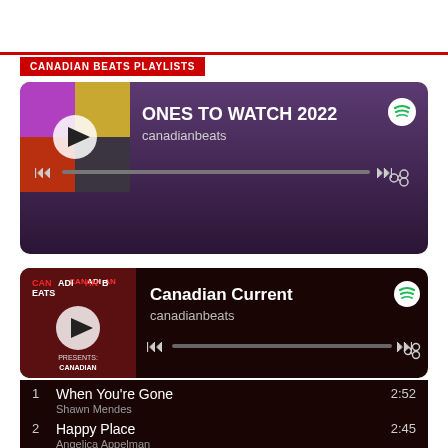CANADIAN BEATS PLAYLISTS
[Figure (screenshot): Spotify embedded player for 'ONES TO WATCH 2022' playlist by canadianbeats, showing album art grid, play button, progress bar, skip and share controls, dark purple gradient background]
[Figure (screenshot): Spotify embedded player for 'Canadian Current' playlist by canadianbeats, showing Canadian Beats logo with play button, progress bar, skip and share controls, dark maroon background]
1  When You're Gone  2:52
Shawn Mendes
2  Happy Place  2:45
Angelica Appelman